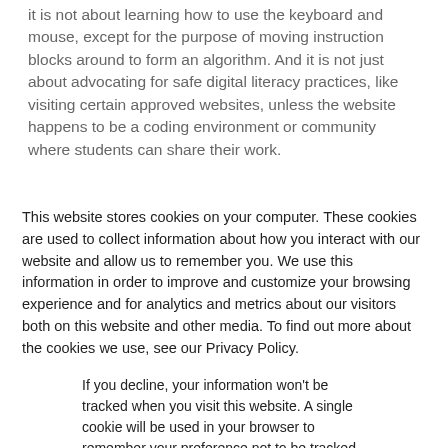it is not about learning how to use the keyboard and mouse, except for the purpose of moving instruction blocks around to form an algorithm. And it is not just about advocating for safe digital literacy practices, like visiting certain approved websites, unless the website happens to be a coding environment or community where students can share their work.
This website stores cookies on your computer. These cookies are used to collect information about how you interact with our website and allow us to remember you. We use this information in order to improve and customize your browsing experience and for analytics and metrics about our visitors both on this website and other media. To find out more about the cookies we use, see our Privacy Policy.
If you decline, your information won't be tracked when you visit this website. A single cookie will be used in your browser to remember your preference not to be tracked.